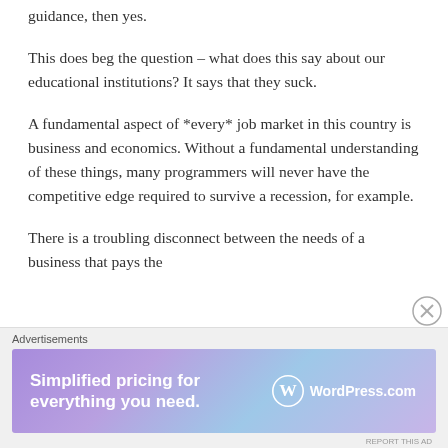guidance, then yes.
This does beg the question – what does this say about our educational institutions? It says that they suck.
A fundamental aspect of *every* job market in this country is business and economics. Without a fundamental understanding of these things, many programmers will never have the competitive edge required to survive a recession, for example.
There is a troubling disconnect between the needs of a business that pays the
Advertisements
[Figure (illustration): WordPress.com advertisement banner: 'Simplified pricing for everything you need.' with WordPress.com logo on a purple-to-blue gradient background.]